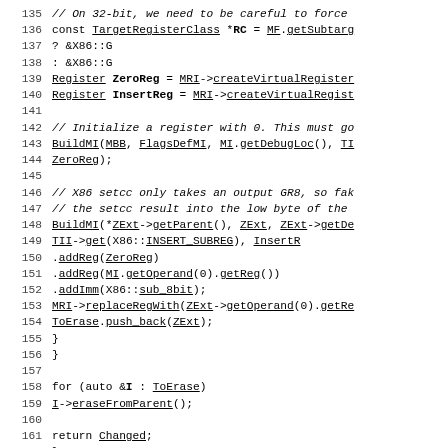Source code lines 135-162 showing C++ code for X86 register operations
135     // On 32-bit, we need to be careful to force
136     const TargetRegisterClass *RC = MF.getSubtarg
137                                         ? &X86::G
138                                         : &X86::G
139     Register ZeroReg = MRI->createVirtualRegister
140     Register InsertReg = MRI->createVirtualRegist
141
142     // Initialize a register with 0. This must go
143     BuildMI(MBB, FlagsDefMI, MI.getDebugLoc(), TI
144             ZeroReg);
145
146     // X86 setcc only takes an output GR8, so fak
147     // the setcc result into the low byte of the
148     BuildMI(*ZExt->getParent(), ZExt, ZExt->getDe
149             TII->get(X86::INSERT_SUBREG), InsertR
150         .addReg(ZeroReg)
151         .addReg(MI.getOperand(0).getReg())
152         .addImm(X86::sub_8bit);
153     MRI->replaceRegWith(ZExt->getOperand(0).getRe
154     ToErase.push_back(ZExt);
155   }
156 }
157
158 for (auto &I : ToErase)
159     I->eraseFromParent();
160
161 return Changed;
162 }